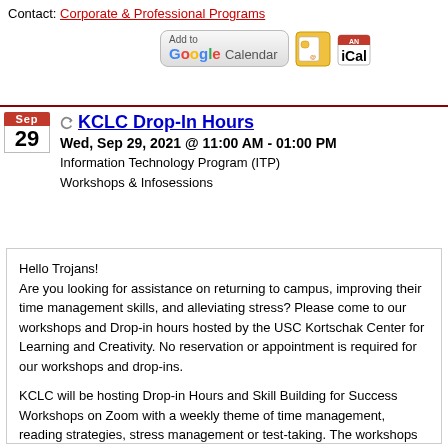Contact: Corporate & Professional Programs
[Figure (other): Add to Google Calendar button, Outlook icon, and iCal icon]
KCLC Drop-In Hours
Wed, Sep 29, 2021 @ 11:00 AM - 01:00 PM
Information Technology Program (ITP)
Workshops & Infosessions
Hello Trojans!
Are you looking for assistance on returning to campus, improving their time management skills, and alleviating stress? Please come to our workshops and Drop-in hours hosted by the USC Kortschak Center for Learning and Creativity. No reservation or appointment is required for our workshops and drop-ins.

KCLC will be hosting Drop-in Hours and Skill Building for Success Workshops on Zoom with a weekly theme of time management, reading strategies, stress management or test-taking. The workshops will be interactive with great tips and resources.

Drop-in hours are available for undergraduate or graduate students to meet with an academic coach without needing to